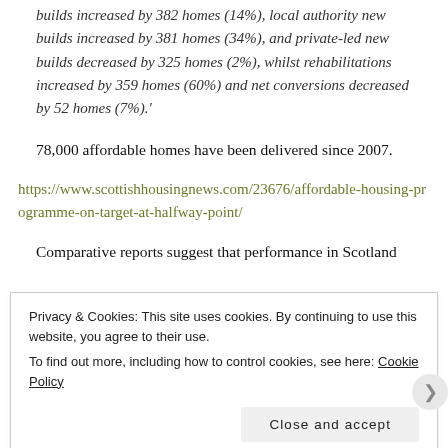builds increased by 382 homes (14%), local authority new builds increased by 381 homes (34%), and private-led new builds decreased by 325 homes (2%), whilst rehabilitations increased by 359 homes (60%) and net conversions decreased by 52 homes (7%).'
78,000 affordable homes have been delivered since 2007.
https://www.scottishhousingnews.com/23676/affordable-housing-programme-on-target-at-halfway-point/
Comparative reports suggest that performance in Scotland
Privacy & Cookies: This site uses cookies. By continuing to use this website, you agree to their use.
To find out more, including how to control cookies, see here: Cookie Policy
Close and accept